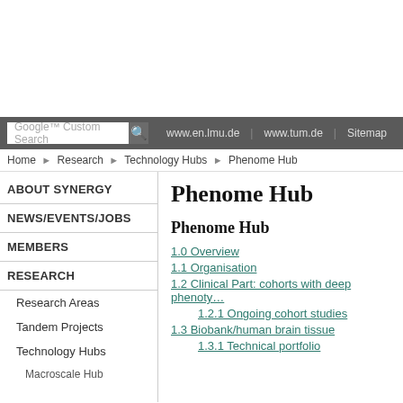[Figure (screenshot): Top white area of a webpage screenshot]
Google™ Custom Search | www.en.lmu.de | www.tum.de | Sitemap
Home › Research › Technology Hubs › Phenome Hub
ABOUT SYNERGY
NEWS/EVENTS/JOBS
MEMBERS
RESEARCH
Research Areas
Tandem Projects
Technology Hubs
Macroscale Hub
Phenome Hub
Phenome Hub
1.0 Overview
1.1 Organisation
1.2 Clinical Part: cohorts with deep phenoty…
1.2.1 Ongoing cohort studies
1.3 Biobank/human brain tissue
1.3.1 Technical portfolio